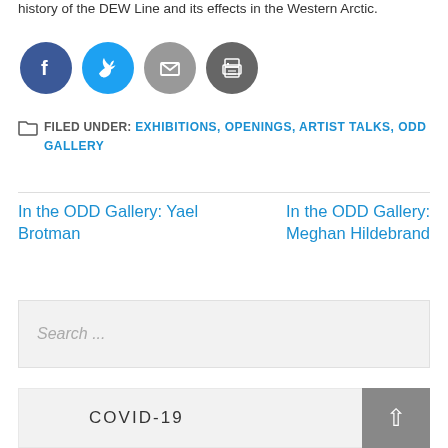history of the DEW Line and its effects in the Western Arctic.
[Figure (illustration): Four social media sharing icons in circles: Facebook (blue), Twitter (cyan), Email (gray), Print (dark gray)]
FILED UNDER: EXHIBITIONS, OPENINGS, ARTIST TALKS, ODD GALLERY
In the ODD Gallery: Yael Brotman
In the ODD Gallery: Meghan Hildebrand
Search ...
COVID-19